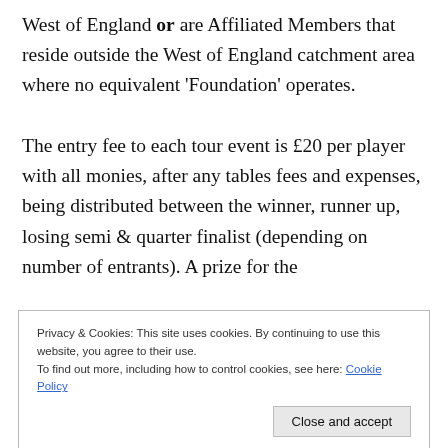West of England or are Affiliated Members that reside outside the West of England catchment area where no equivalent 'Foundation' operates.

The entry fee to each tour event is £20 per player with all monies, after any tables fees and expenses, being distributed between the winner, runner up, losing semi & quarter finalist (depending on number of entrants). A prize for the
Privacy & Cookies: This site uses cookies. By continuing to use this website, you agree to their use.
To find out more, including how to control cookies, see here: Cookie Policy
Close and accept
for previous members or in advance for new